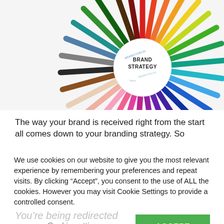[Figure (photo): Circular arrangement of colorful pencils radiating outward from a center circle labeled 'BRAND STRATEGY' with additional text including 'BRAND FOCUS' and other brand-related words. The pencils span every color of the rainbow and more.]
The way your brand is received right from the start all comes down to your branding strategy. So
We use cookies on our website to give you the most relevant experience by remembering your preferences and repeat visits. By clicking “Accept”, you consent to the use of ALL the cookies. However you may visit Cookie Settings to provide a controlled consent.
Cookie settings    ACCEPT
You're being redirected